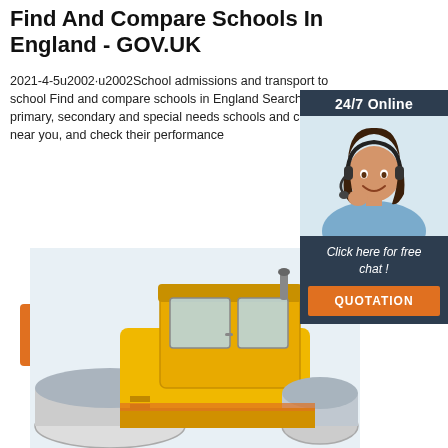Find And Compare Schools In England - GOV.UK
2021-4-5u2002·u2002School admissions and transport to school Find and compare schools in England Search for primary, secondary and special needs schools and colleges near you, and check their performance
[Figure (other): Orange 'Get Price' button]
[Figure (other): Sidebar widget with '24/7 Online' label, photo of woman with headset, 'Click here for free chat!' text, and orange 'QUOTATION' button on dark navy background]
[Figure (photo): Yellow road roller / compactor machine, partially visible at lower portion of page]